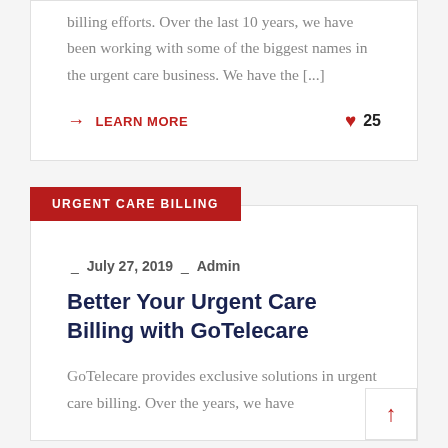billing efforts. Over the last 10 years, we have been working with some of the biggest names in the urgent care business. We have the [...]
→ LEARN MORE   ♥ 25
URGENT CARE BILLING
_ July 27, 2019 _ Admin
Better Your Urgent Care Billing with GoTelecare
GoTelecare provides exclusive solutions in urgent care billing. Over the years, we have